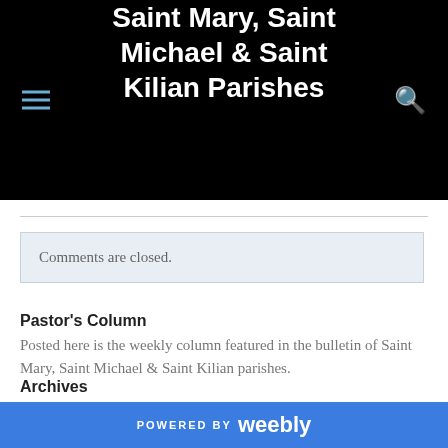Saint Mary, Saint Michael & Saint Kilian Parishes
Comments are closed.
Pastor's Column
Posted here is the weekly column featured in the bulletin of Saint Mary, Saint Michael & Saint Kilian parishes.
Archives
May 2019
March 2019
POWERED BY weebly